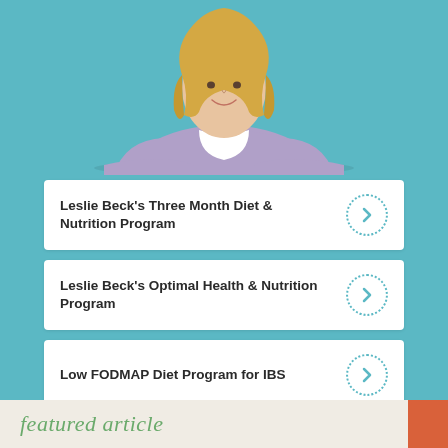[Figure (photo): Photo of a smiling middle-aged woman with blonde hair wearing a light purple/lavender cardigan, leaning forward with arms crossed on a teal background.]
Leslie Beck's Three Month Diet & Nutrition Program
Leslie Beck's Optimal Health & Nutrition Program
Low FODMAP Diet Program for IBS
featured article